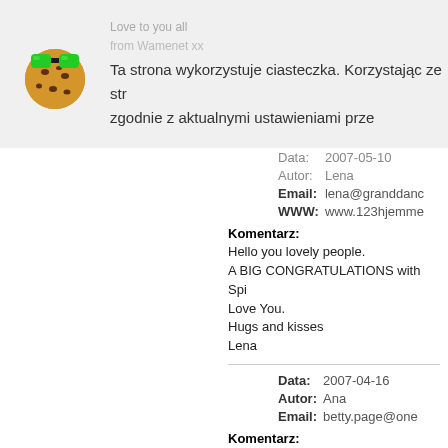[Figure (illustration): Cookie icon with green sunglasses, used in cookie consent bar]
Ta strona wykorzystuje ciasteczka. Korzystając ze str zgodnie z aktualnymi ustawieniami prze
Love to you all
from Wamenet xx
Data: 2007-05-10
Autor: Lena
Email: lena@granddanc
WWW: www.123hjemme
Komentarz:
Hello you lovely people.
A BIG CONGRATULATIONS with Spi
Love You.
Hugs and kisses
Lena
Data: 2007-04-16
Autor: Ana
Email: betty.page@one
Komentarz:
Supar psiaki...ja mam bulika, 3letnieg
kochane
Data: 2007-04-08
Autor: standa a Fatty
Email: dst24@tiscali.cz
WWW: www.staffworld.c
Komentarz:
Ahoj Marku,

gratulujeme ke štěňátkům. Naše Fatt
vhodného psa Woods linie.
S pozdravem Standa a Fatty
Data: 2007-03-25
Autor: Lena
Email: lena@granddanc